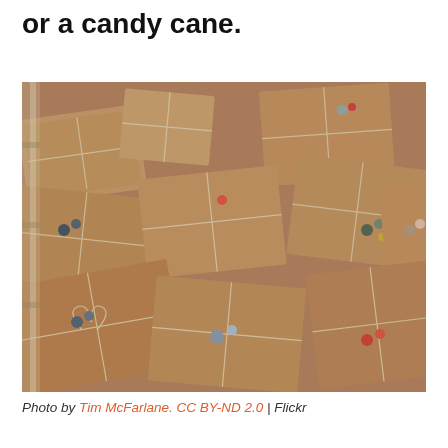or a candy cane.
[Figure (photo): Multiple brown kraft paper wrapped gift packages tied with twine and decorated with small colorful berries or buttons, piled together in an overhead view.]
Photo by Tim McFarlane. CC BY-ND 2.0 | Flickr